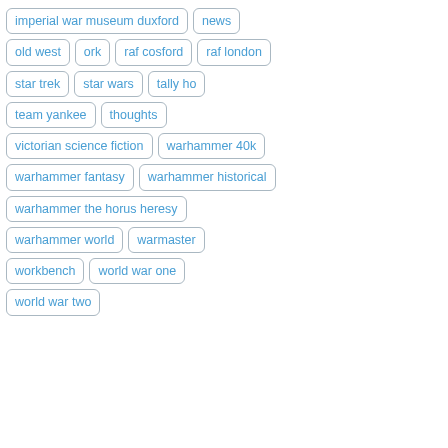imperial war museum duxford
news
old west
ork
raf cosford
raf london
star trek
star wars
tally ho
team yankee
thoughts
victorian science fiction
warhammer 40k
warhammer fantasy
warhammer historical
warhammer the horus heresy
warhammer world
warmaster
workbench
world war one
world war two